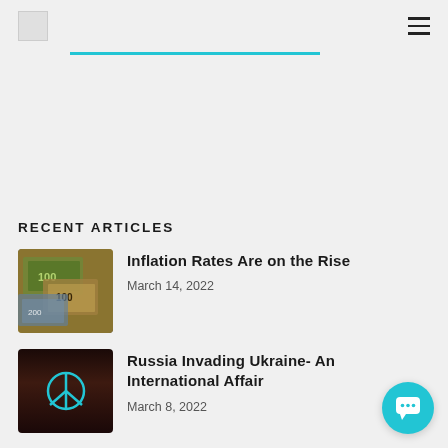[Logo] [Hamburger menu]
[Figure (other): Cyan horizontal divider bar below the navigation header]
RECENT ARTICLES
[Figure (photo): Thumbnail photo of currency bills (US dollars and Euros) for the article Inflation Rates Are on the Rise]
Inflation Rates Are on the Rise
March 14, 2022
[Figure (photo): Thumbnail photo of a peace symbol glowing in teal/blue against a dark brown/black background for the article Russia Invading Ukraine- An International Affair]
Russia Invading Ukraine- An International Affair
March 8, 2022